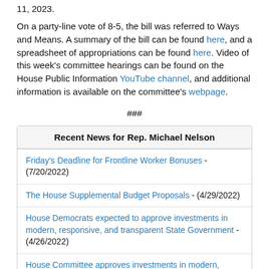11, 2023.
On a party-line vote of 8-5, the bill was referred to Ways and Means. A summary of the bill can be found here, and a spreadsheet of appropriations can be found here. Video of this week's committee hearings can be found on the House Public Information YouTube channel, and additional information is available on the committee's webpage.
###
| Recent News for Rep. Michael Nelson |
| --- |
| Friday's Deadline for Frontline Worker Bonuses - (7/20/2022) |
| The House Supplemental Budget Proposals - (4/29/2022) |
| House Democrats expected to approve investments in modern, responsive, and transparent State Government - (4/26/2022) |
| House Committee approves investments in modern, responsive, and transparent State Government - (4/7/2022) |